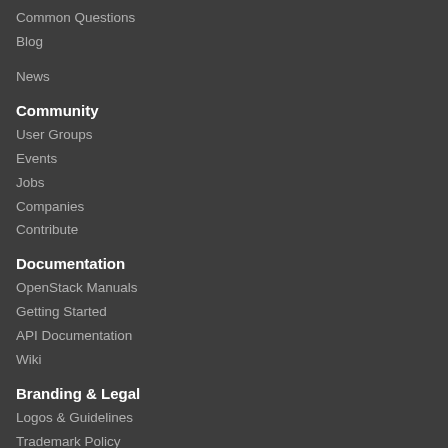Common Questions
Blog
News
Community
User Groups
Events
Jobs
Companies
Contribute
Documentation
OpenStack Manuals
Getting Started
API Documentation
Wiki
Branding & Legal
Logos & Guidelines
Trademark Policy
Privacy Policy